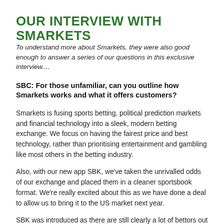OUR INTERVIEW WITH SMARKETS
To understand more about Smarkets, they were also good enough to answer a series of our questions in this exclusive interview....
SBC: For those unfamiliar, can you outline how Smarkets works and what it offers customers?
Smarkets is fusing sports betting, political prediction markets and financial technology into a sleek, modern betting exchange. We focus on having the fairest price and best technology, rather than prioritising entertainment and gambling like most others in the betting industry.
Also, with our new app SBK, we've taken the unrivalled odds of our exchange and placed them in a cleaner sportsbook format. We're really excited about this as we have done a deal to allow us to bring it to the US market next year.
SBK was introduced as there are still clearly a lot of bettors out there